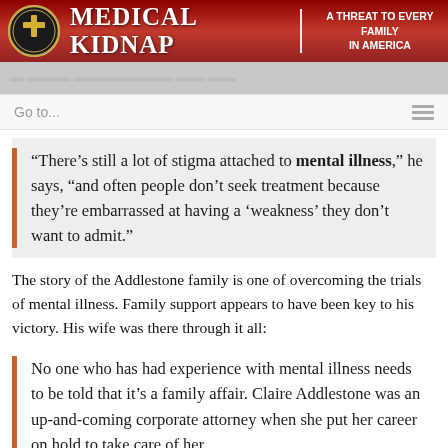MEDICAL KIDNAP | A THREAT TO EVERY FAMILY IN AMERICA
“There’s still a lot of stigma attached to mental illness,” he says, “and often people don’t seek treatment because they’re embarrassed at having a ‘weakness’ they don’t want to admit.”
The story of the Addlestone family is one of overcoming the trials of mental illness. Family support appears to have been key to his victory. His wife was there through it all:
No one who has had experience with mental illness needs to be told that it’s a family affair. Claire Addlestone was an up-and-coming corporate attorney when she put her career on hold to take care of her